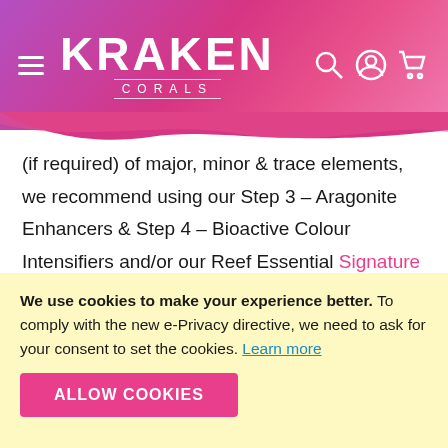KRAKEN CORALS
(if required) of major, minor & trace elements, we recommend using our Step 3 – Aragonite Enhancers & Step 4 – Bioactive Colour Intensifiers and/or our Reef Essential Signature Series. Recommended Calcium concentration = 405-440ppm. Recommended Magnesium concentration = 1230-1310ppm. Recommended Potassium concentration = 375-400ppm. Recommended Iron concentration = 0.002-
We use cookies to make your experience better. To comply with the new e-Privacy directive, we need to ask for your consent to set the cookies. Learn more
ALLOW COOKIES